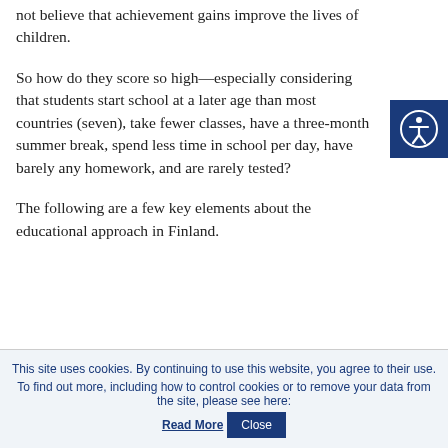not believe that achievement gains improve the lives of children.
So how do they score so high—especially considering that students start school at a later age than most countries (seven), take fewer classes, have a three-month summer break, spend less time in school per day, have barely any homework, and are rarely tested?
The following are a few key elements about the educational approach in Finland.
[Figure (other): Accessibility icon button — dark blue square with white circle person icon (universal accessibility symbol)]
This site uses cookies. By continuing to use this website, you agree to their use. To find out more, including how to control cookies or to remove your data from the site, please see here: Read More [Close button]